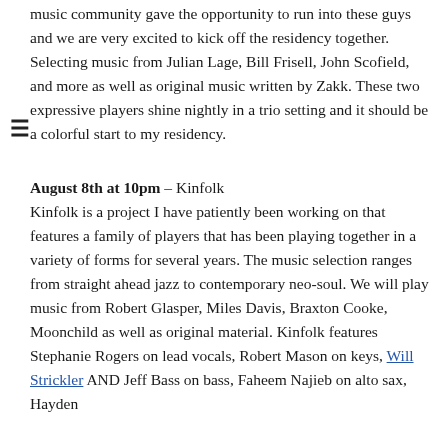music community gave the opportunity to run into these guys and we are very excited to kick off the residency together. Selecting music from Julian Lage, Bill Frisell, John Scofield, and more as well as original music written by Zakk. These two expressive players shine nightly in a trio setting and it should be a colorful start to my residency.
August 8th at 10pm – Kinfolk
Kinfolk is a project I have patiently been working on that features a family of players that has been playing together in a variety of forms for several years. The music selection ranges from straight ahead jazz to contemporary neo-soul. We will play music from Robert Glasper, Miles Davis, Braxton Cooke, Moonchild as well as original material. Kinfolk features Stephanie Rogers on lead vocals, Robert Mason on keys, Will Strickler AND Jeff Bass on bass, Faheem Najieb on alto sax, Hayden